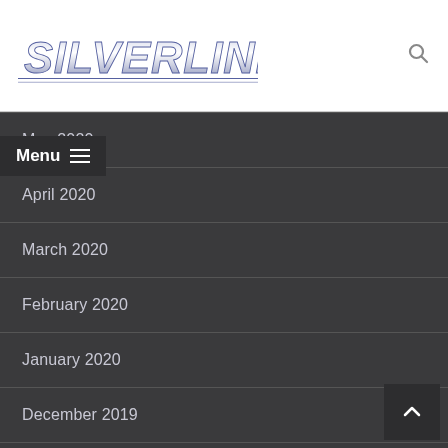[Figure (logo): Silverline logo with stylized italic text in blue/purple tones with silver shading]
May 2020
April 2020
March 2020
February 2020
January 2020
December 2019
November 2019
October 2019
September 2019
August 2019